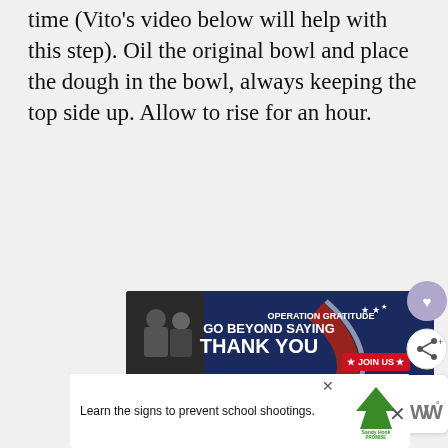time (Vito's video below will help with this step). Oil the original bowl and place the dough in the bowl, always keeping the top side up. Allow to rise for an hour.
[Figure (infographic): Advertisement banner: 'GO BEYOND SAYING THANK YOU' with Operation Gratitude logo and 'JOIN US' button, dark blue background with red/white design, military personnel image on left]
[Figure (infographic): Heart/favorite button (purple circle with heart icon) on right side]
[Figure (infographic): Share button (white circle with share icon) on right side]
WHAT'S NEXT → The best pizza sauce ever!
[Figure (infographic): Bottom advertisement: 'Learn the signs to prevent school shootings.' Sandy Hook Promise logo, with close X button and WW logo on right]